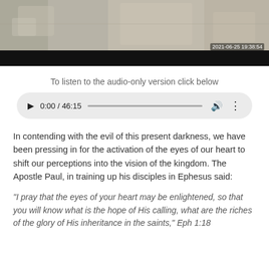[Figure (screenshot): Video thumbnail showing a kitchen scene with people, timestamp 2021-06-25 19:38:54, with a dark bar at the bottom]
To listen to the audio-only version click below
[Figure (screenshot): Audio player UI showing play button, time 0:00 / 46:15, progress bar, volume icon, and more options icon]
In contending with the evil of this present darkness, we have been pressing in for the activation of the eyes of our heart to shift our perceptions into the vision of the kingdom. The Apostle Paul, in training up his disciples in Ephesus said:
“I pray that the eyes of your heart may be enlightened, so that you will know what is the hope of His calling, what are the riches of the glory of His inheritance in the saints,” Eph 1:18